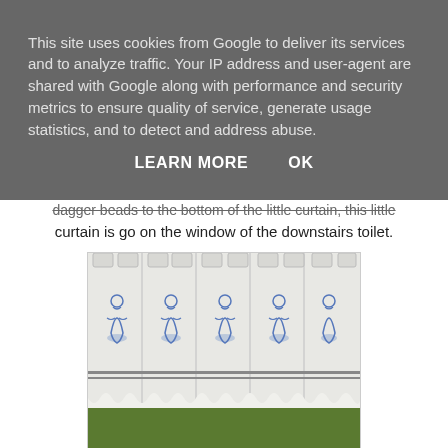This site uses cookies from Google to deliver its services and to analyze traffic. Your IP address and user-agent are shared with Google along with performance and security metrics to ensure quality of service, generate usage statistics, and to detect and address abuse.
LEARN MORE    OK
agger beads to the bottom of the little curtain, this little curtain is go on the window of the downstairs toilet.
[Figure (photo): A white lace cafe curtain with blue Delft-style figures printed on fabric panels, photographed against a green outdoor background.]
I sellotaped it to the window to take a photo. I am pleased how all the lace work has come out, not a scrap of fabric